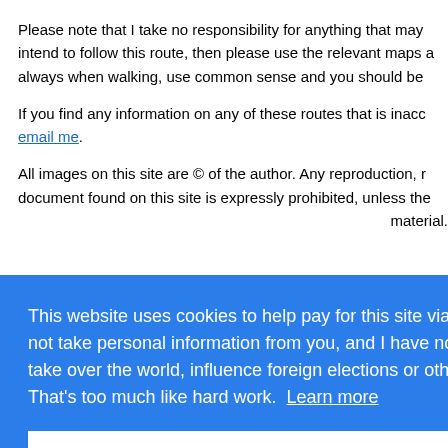Please note that I take no responsibility for anything that may intend to follow this route, then please use the relevant maps a always when walking, use common sense and you should be
If you find any information on any of these routes that is inac email me.
All images on this site are © of the author. Any reproduction, r document found on this site is expressly prohibited, unless the material.
This website uses cookies to help pay for this site via advertising. I do not take personal information from you, and I have no evil plans to take over the world, influence foreign elections or otherwise do evil. That's too much like hard work. Learn more
Got it!
| 300 | Fawley to Bucklers Hard | 15.4 |